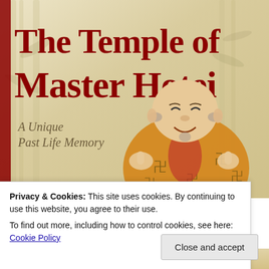[Figure (illustration): Book cover of 'The Temple of Master Hotei: A Unique Past Life Memory' showing a smiling rotund monk figure in golden robes with Chinese symbols, against a bamboo background with cream/yellow tones. Red serif title text at top, italic subtitle below.]
Privacy & Cookies: This site uses cookies. By continuing to use this website, you agree to their use.
To find out more, including how to control cookies, see here: Cookie Policy
Close and accept